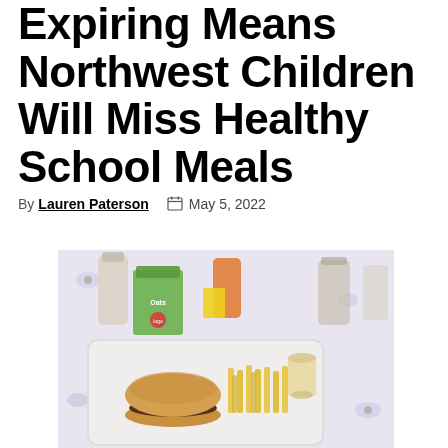Expiring Means Northwest Children Will Miss Healthy School Meals
By Lauren Paterson   May 5, 2022
[Figure (photo): A school lunch tray with a hamburger, french fries, a juice cup, a carton of milk, and condiments on a floral tablecloth]